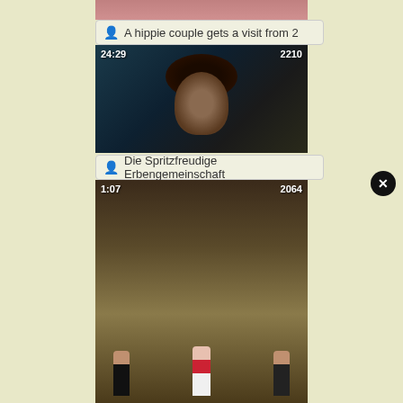[Figure (screenshot): Partial top image cropped at top of page]
A hippie couple gets a visit from 2
[Figure (screenshot): Video thumbnail showing dark scene, duration 24:29, view count 2210]
Die Spritzfreudige Erbengemeinschaft
[Figure (screenshot): Video thumbnail showing barn scene with people, duration 1:07, view count 2064]